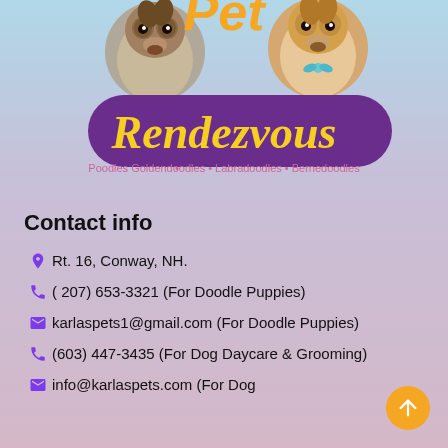[Figure (logo): Pet Rendezvous logo with two doodle dog photos, orange and yellow cursive 'Pet Rendezvous' text on purple banner, tagline 'Poodles • Goldendoodles • Labradoodles • Bernedoodles']
Contact info
Rt. 16, Conway, NH.
( 207) 653-3321 (For Doodle Puppies)
karlaspets1@gmail.com (For Doodle Puppies)
(603) 447-3435 (For Dog Daycare & Grooming)
info@karlaspets.com (For Dog